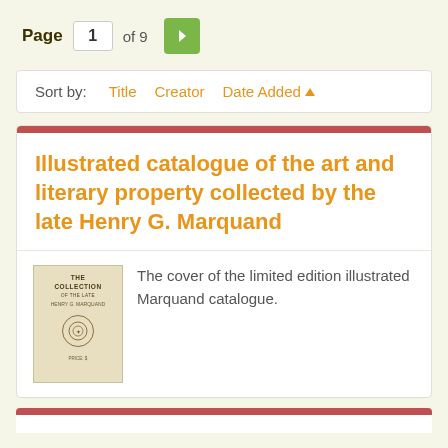Page 1 of 9
Sort by: Title  Creator  Date Added ▲
Illustrated catalogue of the art and literary property collected by the late Henry G. Marquand
[Figure (photo): Cover of the limited edition illustrated Marquand catalogue book]
The cover of the limited edition illustrated Marquand catalogue.